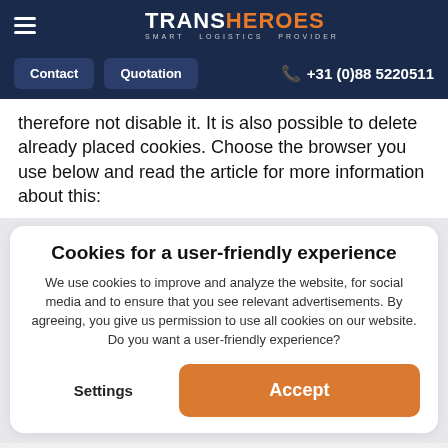TRANSHEROES – SMART LOGISTICS PROVIDER | Contact | Quotation | +31 (0)88 5220511
therefore not disable it. It is also possible to delete already placed cookies. Choose the browser you use below and read the article for more information about this:
Cookies for a user-friendly experience
We use cookies to improve and analyze the website, for social media and to ensure that you see relevant advertisements. By agreeing, you give us permission to use all cookies on our website. Do you want a user-friendly experience?
Settings  Accept